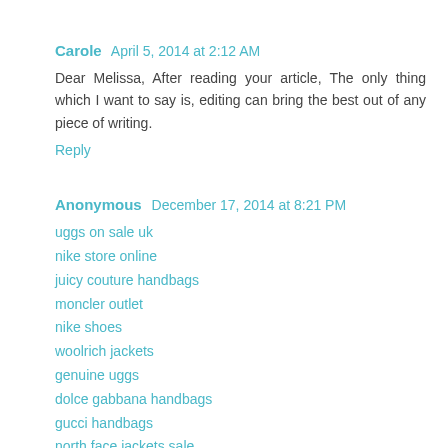Carole  April 5, 2014 at 2:12 AM
Dear Melissa, After reading your article, The only thing which I want to say is, editing can bring the best out of any piece of writing.
Reply
Anonymous  December 17, 2014 at 8:21 PM
uggs on sale uk
nike store online
juicy couture handbags
moncler outlet
nike shoes
woolrich jackets
genuine uggs
dolce gabbana handbags
gucci handbags
north face jackets sale
canada goose jackets